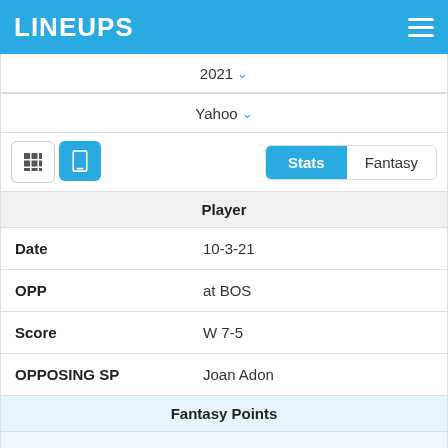LINEUPS
2021
Yahoo
| Player |
| --- |
| Date | 10-3-21 |
| OPP | at BOS |
| Score | W 7-5 |
| OPPOSING SP | Joan Adon |
| Fantasy Points |  |
| FPTS | 0 |
| FPTS/AB | 0 |
| Offense |  |